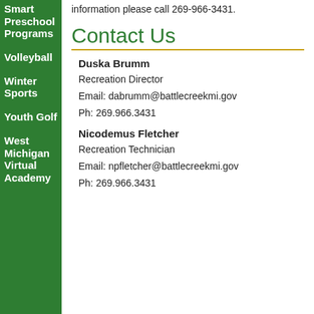Smart Preschool Programs
Volleyball
Winter Sports
Youth Golf
West Michigan Virtual Academy
information please call 269-966-3431.
Contact Us
Duska Brumm
Recreation Director
Email: dabrumm@battlecreekmi.gov
Ph: 269.966.3431
Nicodemus Fletcher
Recreation Technician
Email: npfletcher@battlecreekmi.gov
Ph: 269.966.3431